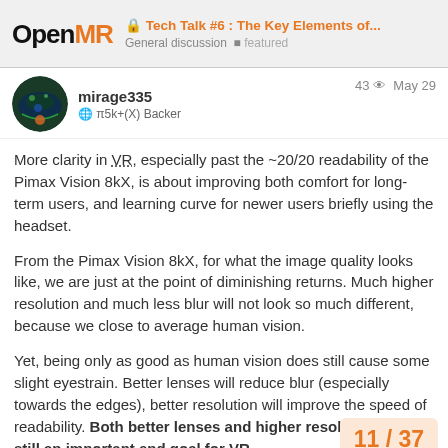Tech Talk #6 : The Key Elements of... | General discussion | featured
mirage335 | 🌐 π5k+(X) Backer | 43 views | May 29
More clarity in VR, especially past the ~20/20 readability of the Pimax Vision 8kX, is about improving both comfort for long-term users, and learning curve for newer users briefly using the headset.
From the Pimax Vision 8kX, for what the image quality looks like, we are just at the point of diminishing returns. Much higher resolution and much less blur will not look so much different, because we close to average human vision.
Yet, being only as good as human vision does still cause some slight eyestrain. Better lenses will reduce blur (especially towards the edges), better resolution will improve the speed of readability. Both better lenses and higher resolution are still an important end goal for VR.
For long-term users, this may be a differe...
11 / 37